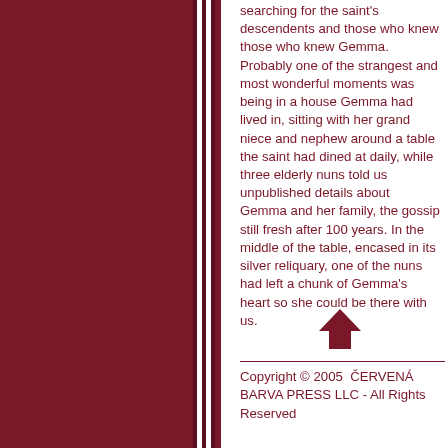searching for the saint's descendents and those who knew those who knew Gemma. Probably one of the strangest and most wonderful moments was being in a house Gemma had lived in, sitting with her grand niece and nephew around a table the saint had dined at daily, while three elderly nuns told us unpublished details about Gemma and her family, the gossip still fresh after 100 years. In the middle of the table, encased in its silver reliquary, one of the nuns had left a chunk of Gemma's heart so she could be there with us.
[Figure (other): Upward-pointing arrow in dark red/maroon color]
Copyright © 2005  ČERVENÁ BARVA PRESS LLC - All Rights Reserved